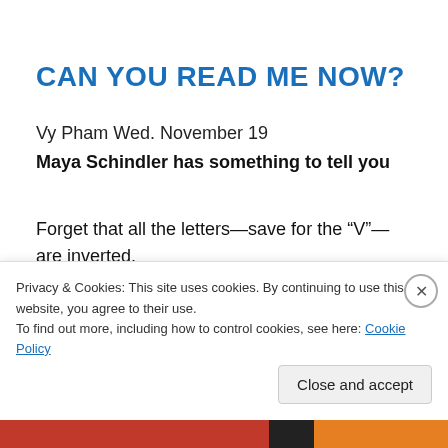CAN YOU READ ME NOW?
Vy Pham Wed. November 19
Maya Schindler has something to tell you
Forget that all the letters—save for the “V”—are inverted. The massive and spotless white styrene words—pinned
Privacy & Cookies: This site uses cookies. By continuing to use this website, you agree to their use.
To find out more, including how to control cookies, see here: Cookie Policy
Close and accept